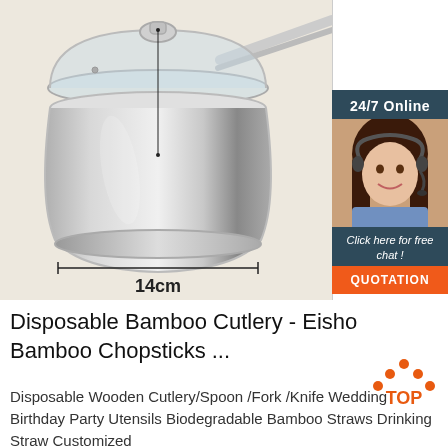[Figure (photo): Stainless steel saucepan with glass lid and long handle on beige background, with a measurement line showing 14cm width. Overlaid with a 24/7 Online customer service chat widget showing a female agent with headset and an orange QUOTATION button.]
Disposable Bamboo Cutlery - Eisho Bamboo Chopsticks ...
Disposable Wooden Cutlery/Spoon /Fork /Knife Wedding Birthday Party Utensils Biodegradable Bamboo Straws Drinking Straw Customized